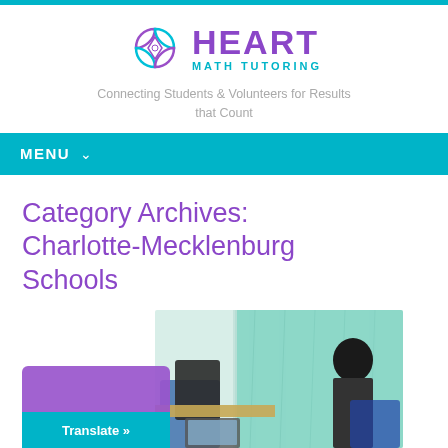[Figure (logo): Heart Math Tutoring logo with interlocking diamond/heart shapes in purple and teal, with 'HEART' in purple and 'MATH TUTORING' in teal]
Connecting Students & Volunteers for Results that Count
MENU ∨
Category Archives: Charlotte-Mecklenburg Schools
[Figure (photo): Classroom photo showing a student or person at a desk with a teal/green fabric backdrop and chairs visible]
Translate »